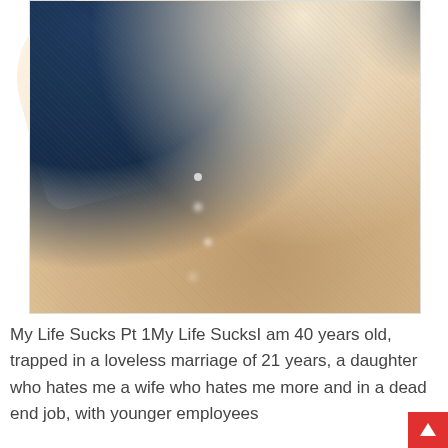[Figure (photo): Close-up photo of a hairy leg/arm area resting on dark blue fabric, overexposed and warm-toned]
My Life Sucks Pt 1My Life SucksI am 40 years old, trapped in a loveless marriage of 21 years, a daughter who hates me a wife who hates me more and in a dead end job, with younger employees